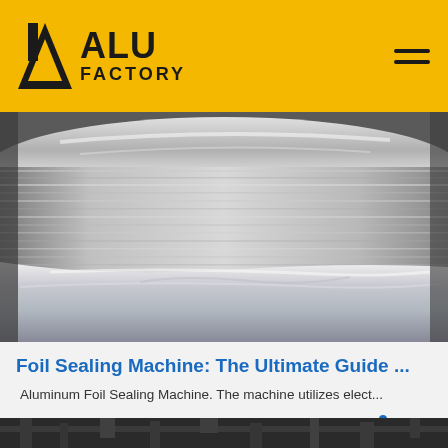ALU FACTORY
[Figure (photo): Close-up photograph of aluminum foil being processed on an industrial rolling machine, showing shiny metallic surface with creases and folds]
Foil Sealing Machine: The Ultimate Guide ...
Aluminum Foil Sealing Machine. The machine utilizes elect...
[Figure (photo): Industrial facility interior showing pipes and machinery in dark setting at the bottom of the page]